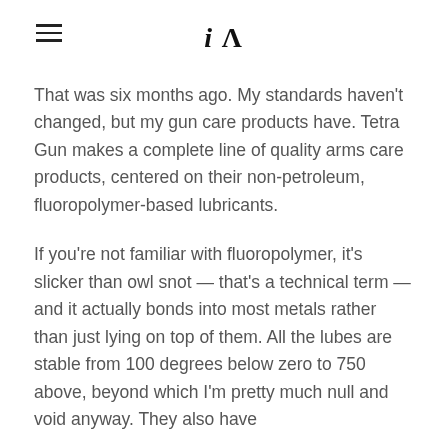iA
That was six months ago. My standards haven't changed, but my gun care products have. Tetra Gun makes a complete line of quality arms care products, centered on their non-petroleum, fluoropolymer-based lubricants.
If you're not familiar with fluoropolymer, it's slicker than owl snot — that's a technical term — and it actually bonds into most metals rather than just lying on top of them. All the lubes are stable from 100 degrees below zero to 750 above, beyond which I'm pretty much null and void anyway. They also have